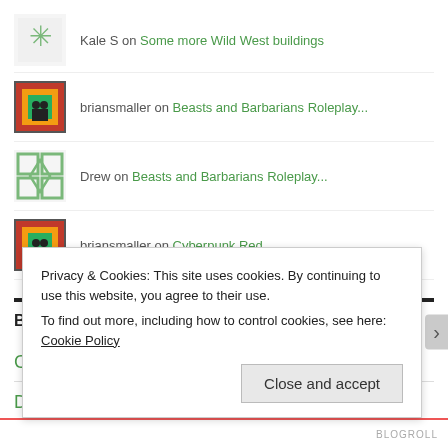Kale S on Some more Wild West buildings
briansmaller on Beasts and Barbarians Roleplay...
Drew on Beasts and Barbarians Roleplay...
briansmaller on Cyberpunk Red
BLOGROLL
Colonel O'Truth's Miniature Issues
Privacy & Cookies: This site uses cookies. By continuing to use this website, you agree to their use.
To find out more, including how to control cookies, see here: Cookie Policy
Close and accept